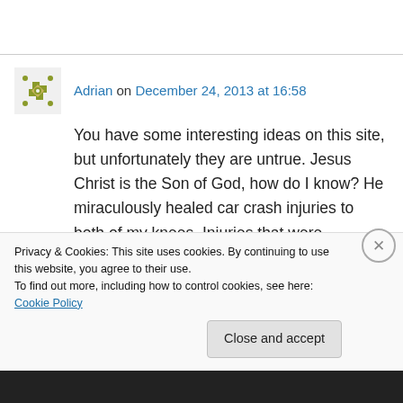Adrian on December 24, 2013 at 16:58
You have some interesting ideas on this site, but unfortunately they are untrue. Jesus Christ is the Son of God, how do I know? He miraculously healed car crash injuries to both of my knees. Injuries that were worsened through medical
Privacy & Cookies: This site uses cookies. By continuing to use this website, you agree to their use.
To find out more, including how to control cookies, see here: Cookie Policy
Close and accept